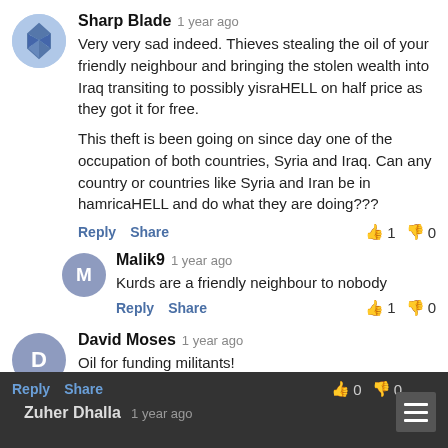Sharp Blade  1 year ago
Very very sad indeed. Thieves stealing the oil of your friendly neighbour and bringing the stolen wealth into Iraq transiting to possibly yisraHELL on half price as they got it for free.

This theft is been going on since day one of the occupation of both countries, Syria and Iraq. Can any country or countries like Syria and Iran be in hamricaHELL and do what they are doing???
Reply  Share  👍 1  👎 0
Malik9  1 year ago
Kurds are a friendly neighbour to nobody
Reply  Share  👍 1  👎 0
David Moses  1 year ago
Oil for funding militants!

Uncle Sam has effectively replaced "Blood Diamond" with "Blood Oil".
Reply  Share  👍 0  👎 0
Zuher Dhalla  1 year ago